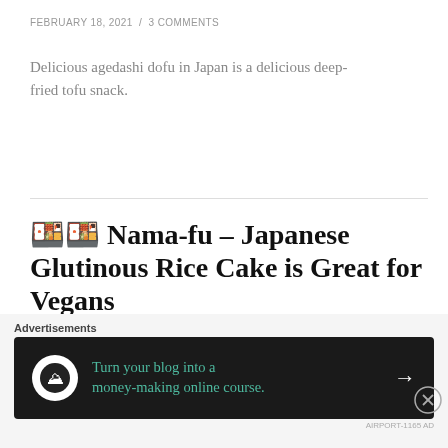FEBRUARY 18, 2021  /  3 COMMENTS
Delicious agedashi dofu in Japan is a delicious deep-fried tofu snack.
🍱🍱 Nama-fu – Japanese Glutinous Rice Cake is Great for Vegans
OCTOBER 20, 2020  /  3 COMMENTS
[Figure (infographic): Advertisement banner: dark background with circular icon, teal text reading 'Turn your blog into a money-making online course.' and a white arrow. Close button (X in circle) at top right.]